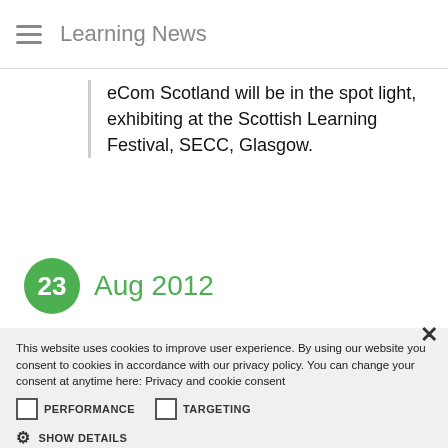Learning News
eCom Scotland will be in the spot light, exhibiting at the Scottish Learning Festival, SECC, Glasgow.
23 Aug 2012
This website uses cookies to improve user experience. By using our website you consent to cookies in accordance with our privacy policy. You can change your consent at anytime here: Privacy and cookie consent
PERFORMANCE  TARGETING
SHOW DETAILS
ACCEPT ALL  DECLINE ALL
POWERED BY COOKIE-SCRIPT